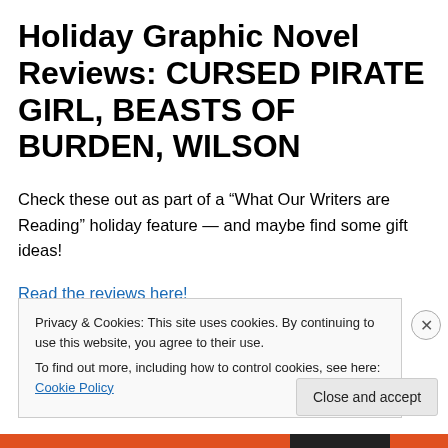Holiday Graphic Novel Reviews: CURSED PIRATE GIRL, BEASTS OF BURDEN, WILSON
Check these out as part of a “What Our Writers are Reading” holiday feature — and maybe find some gift ideas!
Read the reviews here!
Privacy & Cookies: This site uses cookies. By continuing to use this website, you agree to their use.
To find out more, including how to control cookies, see here: Cookie Policy
Close and accept